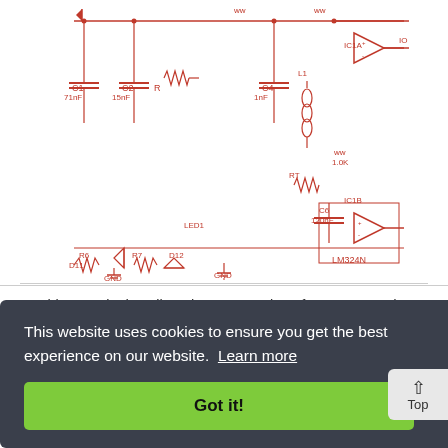[Figure (circuit-diagram): Partial circuit schematic showing an RFID reader circuit with capacitors, resistors, inductors, diodes, LEDs, and LM324N op-amp ICs. Components labeled C1, C2, C4, R6, R7, R10, D11, D12, LED1, IC1A, IC1B, LM324N, and various GND nodes visible.]
This page is describes the construction of an RFID reader using only an Arduino (Nano 3. 0 was...
Dual-Slope Integrating ADC
[Figure (circuit-diagram): Partial circuit diagram of a Dual-Slope Integrating ADC showing +V supply, input connection, discharge path, reference, and capacitor C1.]
This website uses cookies to ensure you get the best experience on our website. Learn more
Got it!